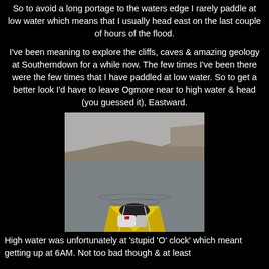So to avoid a long portage to the waters edge I rarely paddle at low water which means that I usually head east on the last couple of hours of the flood.
I've been meaning to explore the cliffs, caves & amazing geology at Southerndown for a while now. The few times I've been there were the few times that I have paddled at low water. So to get a better look I'd have to leave Ogmore near to high water & head (you guessed it), Eastward.
[Figure (photo): View from the bow of a yellow kayak on calm grey water, looking toward rocky coastline with cliffs in the background under an overcast sky.]
High water was unfortunately at 'stupid 'O' clock' which meant getting up at 6AM. Not too bad though & at least